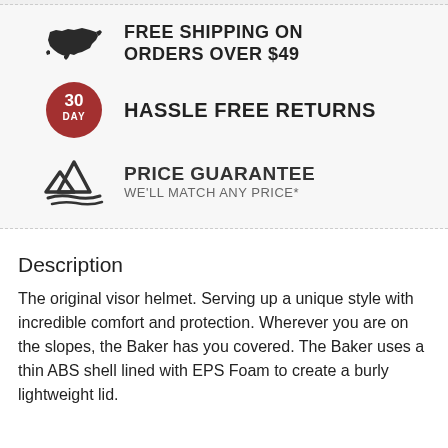[Figure (infographic): Free Shipping on Orders Over $49 — USA map silhouette icon with bold black text]
[Figure (infographic): 30 Day Hassle Free Returns — red circle badge with '30 DAY' text and bold black text]
[Figure (infographic): Price Guarantee, We'll Match Any Price* — mountain/swoosh icon with bold dark text]
Description
The original visor helmet. Serving up a unique style with incredible comfort and protection. Wherever you are on the slopes, the Baker has you covered. The Baker uses a thin ABS shell lined with EPS Foam to create a burly lightweight lid.